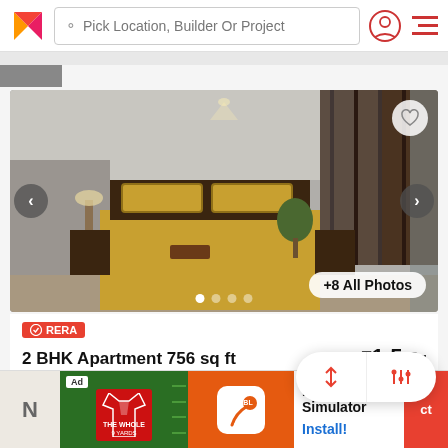Pick Location, Builder Or Project
[Figure (photo): Bedroom interior with yellow/gold bed cover, dark wooden wardrobe with glass panels, and modern lighting]
+8 All Photos
RERA
2 BHK Apartment 756 sq ft
₹1.5 Cr
Lodha Vikhroli Tower C1
2 BHK Property for sale in 2 BHK Apartme... More
[Figure (screenshot): BitLife - Life Simulator advertisement with green and orange panels, Ad badge, install button]